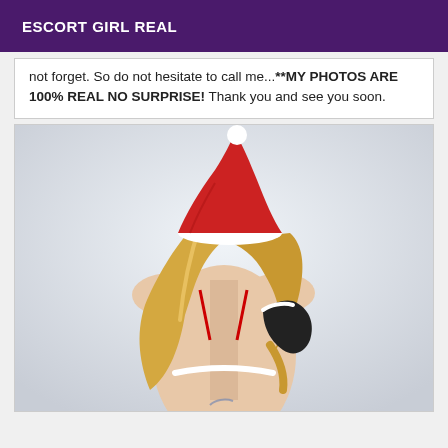ESCORT GIRL REAL
not forget. So do not hesitate to call me...**MY PHOTOS ARE 100% REAL NO SURPRISE! Thank you and see you soon.
[Figure (photo): A woman with long blonde hair wearing a red Santa hat and red bikini top with white fur trim, also wearing black gloves, viewed from behind against a light background.]